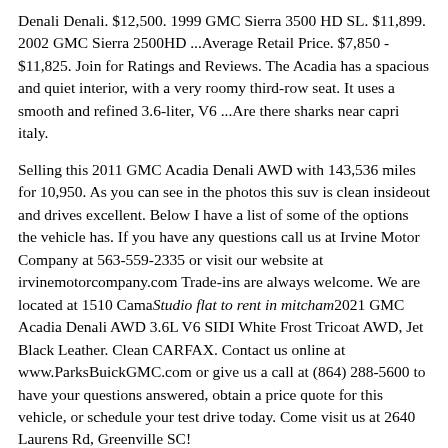Denali Denali. $12,500. 1999 GMC Sierra 3500 HD SL. $11,899. 2002 GMC Sierra 2500HD ...Average Retail Price. $7,850 - $11,825. Join for Ratings and Reviews. The Acadia has a spacious and quiet interior, with a very roomy third-row seat. It uses a smooth and refined 3.6-liter, V6 ...Are there sharks near capri italy.
Selling this 2011 GMC Acadia Denali AWD with 143,536 miles for 10,950. As you can see in the photos this suv is clean insideout and drives excellent. Below I have a list of some of the options the vehicle has. If you have any questions call us at Irvine Motor Company at 563-559-2335 or visit our website at irvinemotorcompany.com Trade-ins are always welcome. We are located at 1510 CamaStudio flat to rent in mitcham2021 GMC Acadia Denali AWD 3.6L V6 SIDI White Frost Tricoat AWD, Jet Black Leather. Clean CARFAX. Contact us online at www.ParksBuickGMC.com or give us a call at (864) 288-5600 to have your questions answered, obtain a price quote for this vehicle, or schedule your test drive today. Come visit us at 2640 Laurens Rd, Greenville SC!
A Denali version of the Acadia debuted for 2011. In 2017, the second generation Acadia was repositioned as a mid-size crossover utility vehicle in order to compete within the growing midsize SUV market against the likes of the Ford Explorer , Edge , and Jeep Grand Cherokee . The GMC Acadia . With the largest